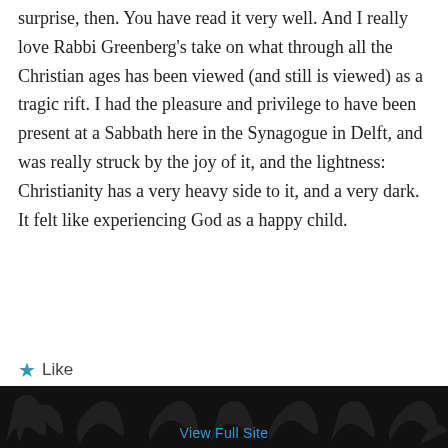surprise, then. You have read it very well. And I really love Rabbi Greenberg's take on what through all the Christian ages has been viewed (and still is viewed) as a tragic rift. I had the pleasure and privilege to have been present at a Sabbath here in the Synagogue in Delft, and was really struck by the joy of it, and the lightness: Christianity has a very heavy side to it, and a very dark. It felt like experiencing God as a happy child.
★ Like
↪ Reply
View Full Site